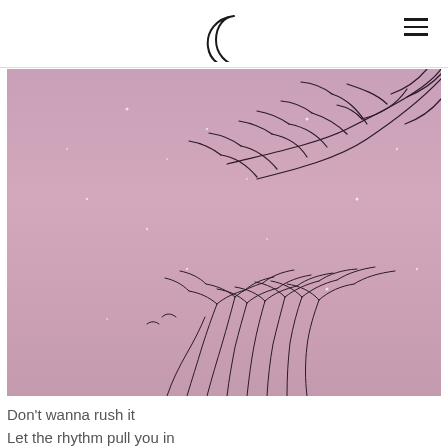Moon icon and hamburger menu
[Figure (photo): Photograph of bare winter tree branches silhouetted against a soft pink/mauve sky with snow or stars visible. Trees appear at top right and bottom center of the image.]
Don't wanna rush it
Let the rhythm pull you in
It's here so touch it